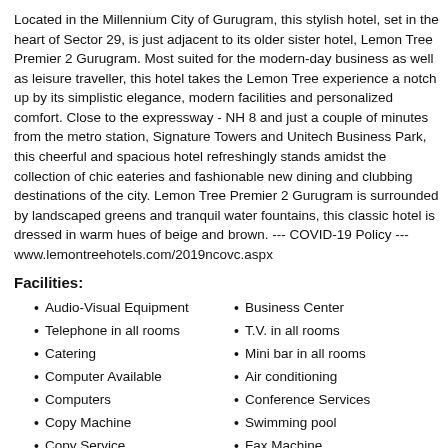Located in the Millennium City of Gurugram, this stylish hotel, set in the heart of Sector 29, is just adjacent to its older sister hotel, Lemon Tree Premier 2 Gurugram. Most suited for the modern-day business as well as leisure traveller, this hotel takes the Lemon Tree experience a notch up by its simplistic elegance, modern facilities and personalized comfort. Close to the expressway - NH 8 and just a couple of minutes from the metro station, Signature Towers and Unitech Business Park, this cheerful and spacious hotel refreshingly stands amidst the collection of chic eateries and fashionable new dining and clubbing destinations of the city. Lemon Tree Premier 2 Gurugram is surrounded by landscaped greens and tranquil water fountains, this classic hotel is dressed in warm hues of beige and brown. --- COVID-19 Policy --- www.lemontreehotels.com/2019ncovc.aspx
Facilities:
Audio-Visual Equipment
Business Center
Telephone in all rooms
T.V. in all rooms
Catering
Mini bar in all rooms
Computer Available
Air conditioning
Computers
Conference Services
Copy Machine
Swimming pool
Copy Service
Fax Machine
Fax Service
Fitness Center / Health Club
Internet Connectivity
Video Conferencing
Wireless Lan in entire
Babysitting/Childcare